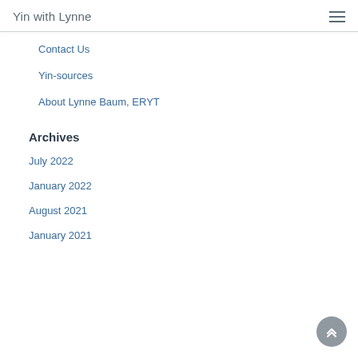Yin with Lynne
Contact Us
Yin-sources
About Lynne Baum, ERYT
Archives
July 2022
January 2022
August 2021
January 2021